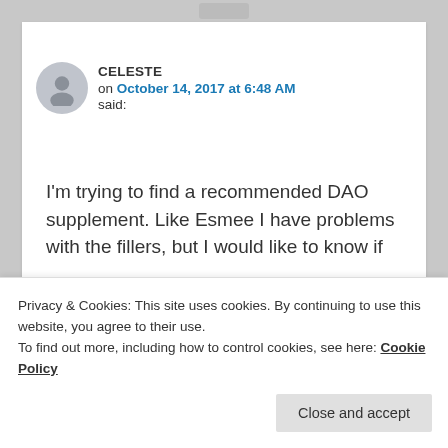CELESTE
on October 14, 2017 at 6:48 AM said:
I'm trying to find a recommended DAO supplement. Like Esmee I have problems with the fillers, but I would like to know if my issue is low DAO…I do have SNP'S. Dr. Janice Joneja said, “Currently the only food grade DAO supplement is from Umbrellux and can be purchased directly from them (or Amazon). I checked it out
Privacy & Cookies: This site uses cookies. By continuing to use this website, you agree to their use.
To find out more, including how to control cookies, see here: Cookie Policy
Close and accept
Guide to Histamine Intolerance.  very